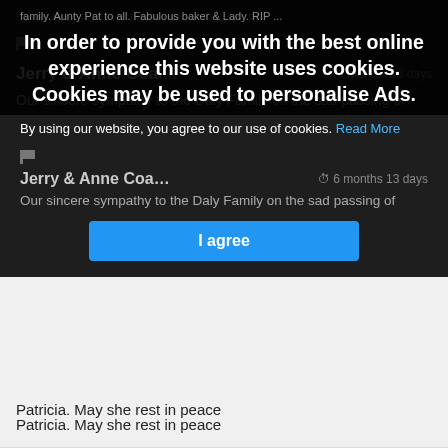family. Aunty Pat to all. Fabulous baker & Lady. RIP…
In order to provide you with the best online experience this website uses cookies. Cookies may be used to personalise Ads.
By using our website, you agree to our use of cookies. Read More
I agree
Jerry & Anne Coa… ⏱ 6 months 13 days
Our sincere sympathy to the Daly Family on the sad passing of Patricia. May she rest in peace
Ann & Charlene Kelly
⏱ 6 months 13 days
Sincerest condolences to Jane and all the Daly family on the passing of Patricia. May she rest in peace.